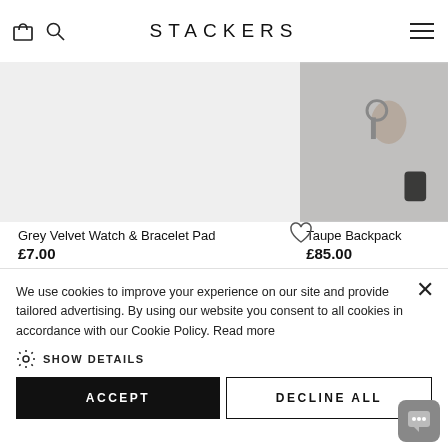STACKERS
[Figure (photo): Grey product image area (Grey Velvet Watch & Bracelet Pad product photo)]
[Figure (photo): Taupe Backpack product photo showing keys and a black keyring]
Grey Velvet Watch & Bracelet Pad
£7.00
Taupe Backpack
£85.00
Jewellery Box Accessories
We use cookies to improve your experience on our site and provide tailored advertising. By using our website you consent to all cookies in accordance with our Cookie Policy. Read more
SHOW DETAILS
ACCEPT
DECLINE ALL